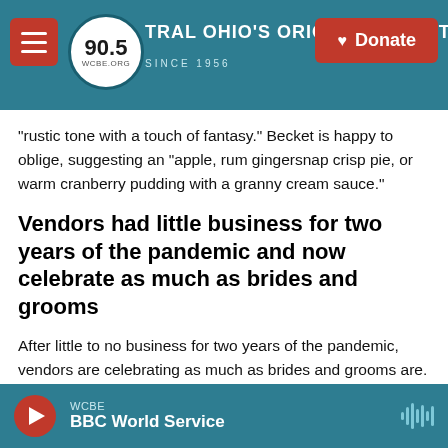90.5 WCBE — CENTRAL OHIO'S ORIGINAL NPR STATION — SINCE 1956 — Donate
"rustic tone with a touch of fantasy." Becket is happy to oblige, suggesting an "apple, rum gingersnap crisp pie, or warm cranberry pudding with a granny cream sauce."
Vendors had little business for two years of the pandemic and now celebrate as much as brides and grooms
After little to no business for two years of the pandemic, vendors are celebrating as much as brides and grooms are.
WCBE — BBC World Service